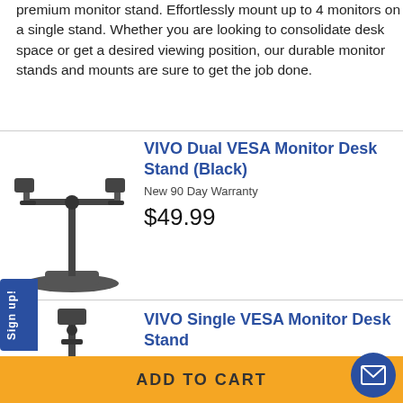premium monitor stand. Effortlessly mount up to 4 monitors on a single stand. Whether you are looking to consolidate desk space or get a desired viewing position, our durable monitor stands and mounts are sure to get the job done.
[Figure (photo): VIVO Dual VESA Monitor Desk Stand - black dual monitor mount with two arms and a wide base]
VIVO Dual VESA Monitor Desk Stand (Black)
New 90 Day Warranty
$49.99
[Figure (photo): VIVO Single VESA Monitor Desk Stand - black single monitor mount with a vertical pole and a base]
VIVO Single VESA Monitor Desk Stand
New 90 Day Warranty